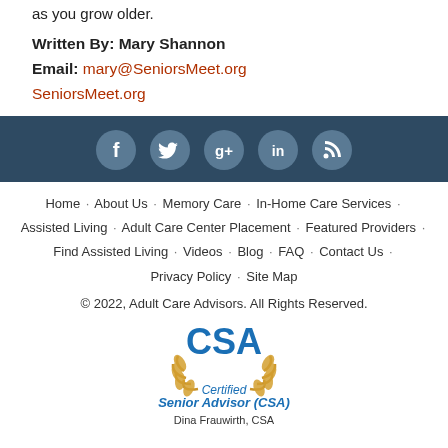Written By: Mary Shannon
Email: mary@SeniorsMeet.org
SeniorsMeet.org
[Figure (infographic): Dark blue/navy social media bar with 5 circular icons: Facebook, Twitter, Google+, LinkedIn, RSS feed]
Home · About Us · Memory Care · In-Home Care Services · Assisted Living · Adult Care Center Placement · Featured Providers · Find Assisted Living · Videos · Blog · FAQ · Contact Us · Privacy Policy · Site Map
© 2022, Adult Care Advisors. All Rights Reserved.
[Figure (logo): CSA Certified Senior Advisor logo with gold laurel wreath, blue CSA letters, blue italic 'Certified Senior Advisor (CSA)' text, and 'Dina Frauwirth, CSA' below]